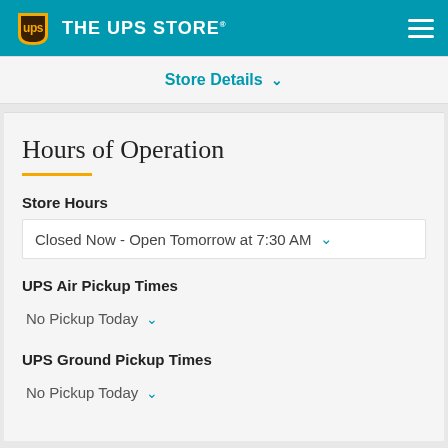THE UPS STORE
Store Details
Hours of Operation
Store Hours
Closed Now - Open Tomorrow at 7:30 AM
UPS Air Pickup Times
No Pickup Today
UPS Ground Pickup Times
No Pickup Today